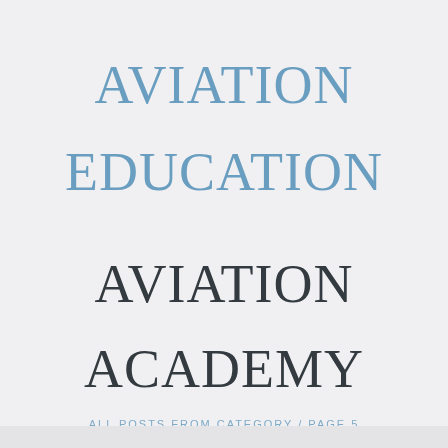AVIATION EDUCATION
AVIATION ACADEMY
ALL POSTS FROM CATEGORY / PAGE 5